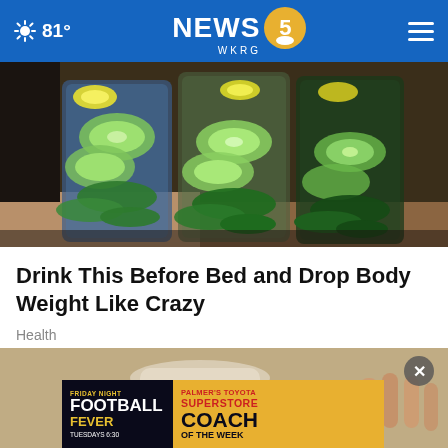81° NEWS 5 WKRG
[Figure (photo): Three glass jars filled with cucumber slices, mint leaves, and lemon slices — infused water drinks on a kitchen counter]
Drink This Before Bed and Drop Body Weight Like Crazy
Health
[Figure (photo): Second photo partially visible below the article title, with a close button (X) and an advertisement banner overlay reading: FRIDAY NIGHT FOOTBALL FEVER TUESDAYS 6:30 / PALMER'S TOYOTA SUPERSTORE / COACH OF THE WEEK]